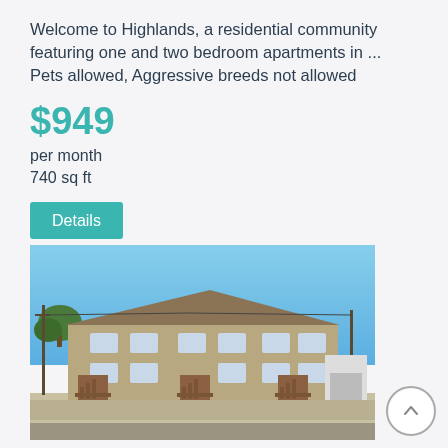Welcome to Highlands, a residential community featuring one and two bedroom apartments in ...
Pets allowed, Aggressive breeds not allowed
$949
per month
740 sq ft
Details
[Figure (photo): Exterior photo of a two-story apartment complex with multiple wooden staircase entrances, brown/tan siding, and a clear blue sky background. Parking area visible in front.]